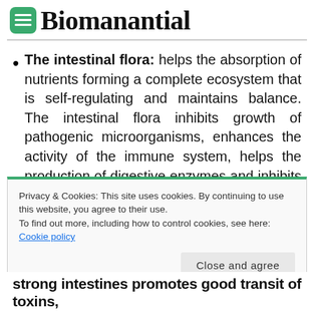Biomanantial
The intestinal flora: helps the absorption of nutrients forming a complete ecosystem that is self-regulating and maintains balance. The intestinal flora inhibits growth of pathogenic microorganisms, enhances the activity of the immune system, helps the production of digestive enzymes and inhibits virus.
Privacy & Cookies: This site uses cookies. By continuing to use this website, you agree to their use.
To find out more, including how to control cookies, see here: Cookie policy
strong intestines promotes good transit of toxins,